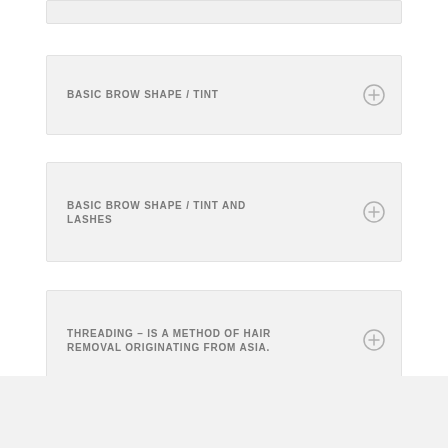BASIC BROW SHAPE / TINT
BASIC BROW SHAPE / TINT AND LASHES
THREADING – IS A METHOD OF HAIR REMOVAL ORIGINATING FROM ASIA.